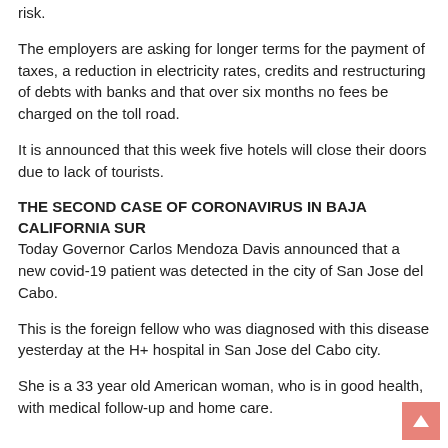risk.
The employers are asking for longer terms for the payment of taxes, a reduction in electricity rates, credits and restructuring of debts with banks and that over six months no fees be charged on the toll road.
It is announced that this week five hotels will close their doors due to lack of tourists.
THE SECOND CASE OF CORONAVIRUS IN BAJA CALIFORNIA SUR
Today Governor Carlos Mendoza Davis announced that a new covid-19 patient was detected in the city of San Jose del Cabo.
This is the foreign fellow who was diagnosed with this disease yesterday at the H+ hospital in San Jose del Cabo city.
She is a 33 year old American woman, who is in good health, with medical follow-up and home care.